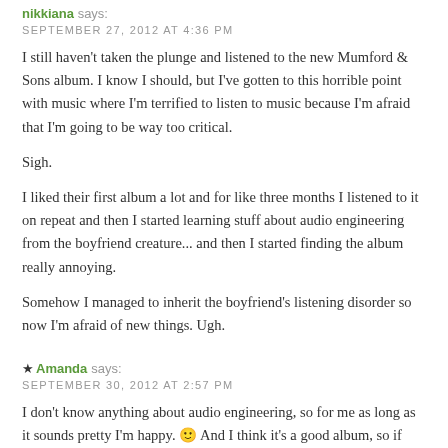nikkiana says:
SEPTEMBER 27, 2012 AT 4:36 PM
I still haven't taken the plunge and listened to the new Mumford & Sons album. I know I should, but I've gotten to this horrible point with music where I'm terrified to listen to music because I'm afraid that I'm going to be way too critical.
Sigh.
I liked their first album a lot and for like three months I listened to it on repeat and then I started learning stuff about audio engineering from the boyfriend creature... and then I started finding the album really annoying.
Somehow I managed to inherit the boyfriend's listening disorder so now I'm afraid of new things. Ugh.
★ Amanda says:
SEPTEMBER 30, 2012 AT 2:57 PM
I don't know anything about audio engineering, so for me as long as it sounds pretty I'm happy. 🙂 And I think it's a good album, so if you can conquer fear of the listening disorder try it out!